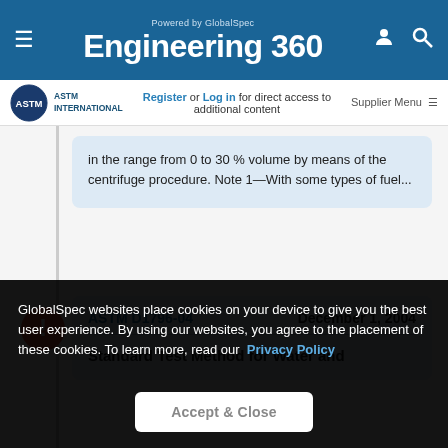Engineering 360 — Powered by GlobalSpec
Register or Log in for direct access to additional content    Supplier Menu
in the range from 0 to 30 % volume by means of the centrifuge procedure. Note 1—With some types of fuel...
ASTM D1796-04    December 1, 2004
Standard Test Method for Water and
GlobalSpec websites place cookies on your device to give you the best user experience. By using our websites, you agree to the placement of these cookies. To learn more, read our Privacy Policy
Accept & Close